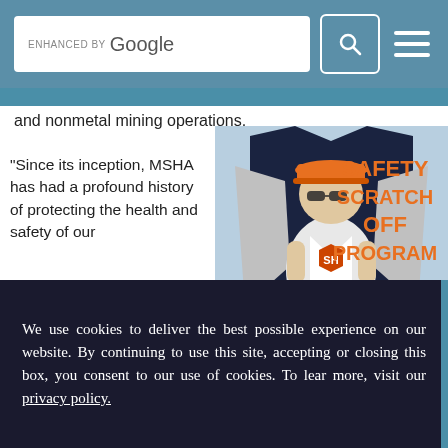[Figure (screenshot): Search bar with 'ENHANCED BY Google' text, a search icon button, and a hamburger menu button, all on a teal background]
and nonmetal mining operations.
"Since its inception, MSHA has had a profound history of protecting the health and safety of our
[Figure (illustration): Safety Hero Safety Scratch Off Program promotional image featuring a superhero miner character in a navy/orange shield logo with text 'SAFETY HERO' and 'SAFETY SCRATCH OFF PROGRAM' in orange on a light blue background]
We use cookies to deliver the best possible experience on our website. By continuing to use this site, accepting or closing this box, you consent to our use of cookies. To lear more, visit our privacy policy.